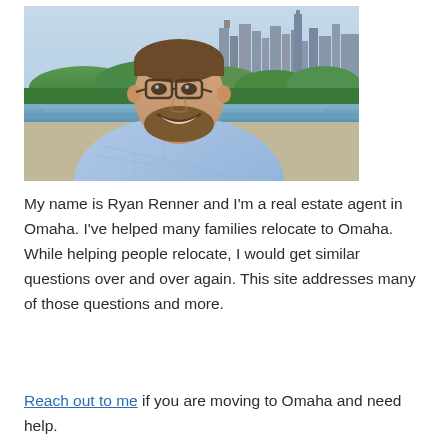[Figure (photo): A smiling man with glasses and a beard wearing a light blue checkered shirt, photographed outdoors with the Omaha city skyline, river, and trees visible in the background.]
My name is Ryan Renner and I'm a real estate agent in Omaha. I've helped many families relocate to Omaha. While helping people relocate, I would get similar questions over and over again. This site addresses many of those questions and more.
Reach out to me if you are moving to Omaha and need help.